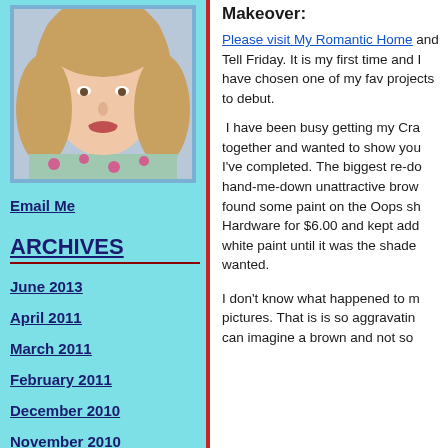[Figure (photo): Profile photo of a woman with blonde hair wearing a floral top]
Email Me
ARCHIVES
June 2013
April 2011
March 2011
February 2011
December 2010
November 2010
October 2010
Makeover:
Please visit My Romantic Home and Tell Friday. It is my first time and I have chosen one of my fav projects to debut.
I have been busy getting my Cra together and wanted to show you I've completed. The biggest re-do hand-me-down unattractive brow found some paint on the Oops sh Hardware for $6.00 and kept add white paint until it was the shade wanted.
I don't know what happened to m pictures. That is is so aggravatin can imagine a brown and not so